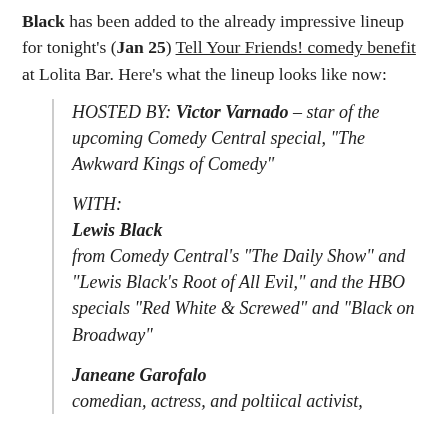Black has been added to the already impressive lineup for tonight's (Jan 25) Tell Your Friends! comedy benefit at Lolita Bar. Here's what the lineup looks like now:
HOSTED BY: Victor Varnado – star of the upcoming Comedy Central special, "The Awkward Kings of Comedy"
WITH:
Lewis Black
from Comedy Central's "The Daily Show" and "Lewis Black's Root of All Evil," and the HBO specials "Red White & Screwed" and "Black on Broadway"
Janeane Garofalo
comedian, actress, and poltiical activist,